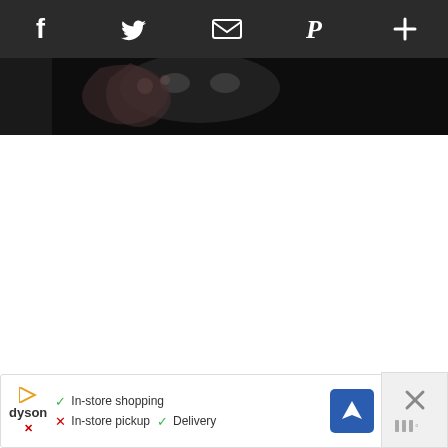[Figure (screenshot): Social sharing toolbar with icons for Facebook, Twitter, Email, Pinterest, and a plus/more button on a dark background]
[Figure (photo): Partial hero image showing a person with tattoos against a dark background, cropped]
[Figure (infographic): Weather widget showing bar/temperature icons in gray with degree symbol]
[Figure (infographic): Dyson advertisement banner with logo, checkmark In-store shopping, X In-store pickup, checkmark Delivery, and a navigation arrow icon]